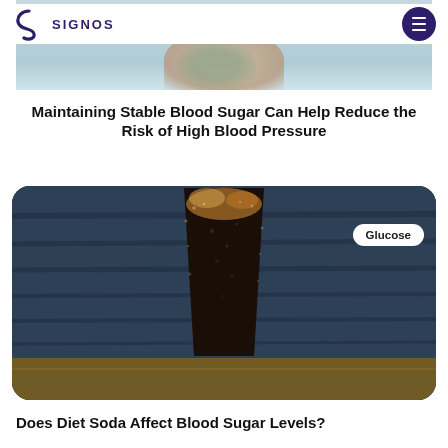SIGNOS
[Figure (photo): Top portion of an article card showing a person, partially cropped]
Maintaining Stable Blood Sugar Can Help Reduce the Risk of High Blood Pressure
[Figure (photo): Photo of a dark cola drink in a tall glass with ice, on a wooden surface with dark blue background. A white pill-shaped tag in the upper right reads 'Glucose'.]
Does Diet Soda Affect Blood Sugar Levels?